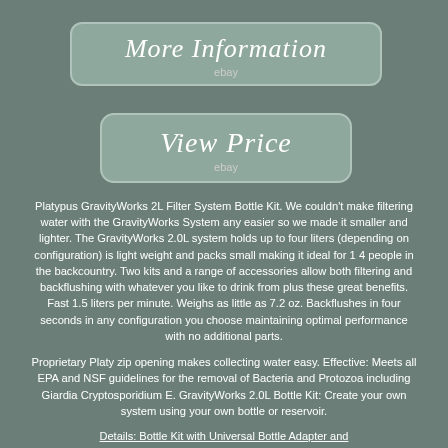[Figure (screenshot): Button with rounded rectangle style reading 'More Information' with 'ebay' subtitle below]
[Figure (screenshot): Button with rounded rectangle style reading 'View Price' with 'ebay' subtitle below]
Platypus GravityWorks 2L Filter System Bottle Kit. We couldn't make filtering water with the GravityWorks System any easier so we made it smaller and lighter. The GravityWorks 2.0L system holds up to four liters (depending on configuration) is light weight and packs small making it ideal for 1 4 people in the backcountry. Two kits and a range of accessories allow both filtering and backflushing with whatever you like to drink from plus these great benefits. Fast 1.5 liters per minute. Weighs as little as 7.2 oz. Backflushes in four seconds in any configuration you choose maintaining optimal performance with no additional parts.
Proprietary Platy zip opening makes collecting water easy. Effective: Meets all EPA and NSF guidelines for the removal of Bacteria and Protozoa including Giardia Cryptosporidium E. GravityWorks 2.0L Bottle Kit: Create your own system using your own bottle or reservoir.
Details: Bottle Kit with Universal Bottle Adapter and